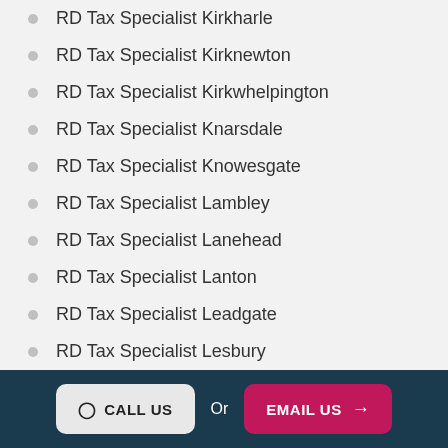RD Tax Specialist Kirkharle
RD Tax Specialist Kirknewton
RD Tax Specialist Kirkwhelpington
RD Tax Specialist Knarsdale
RD Tax Specialist Knowesgate
RD Tax Specialist Lambley
RD Tax Specialist Lanehead
RD Tax Specialist Lanton
RD Tax Specialist Leadgate
RD Tax Specialist Lesbury
CALL US  Or  EMAIL US →